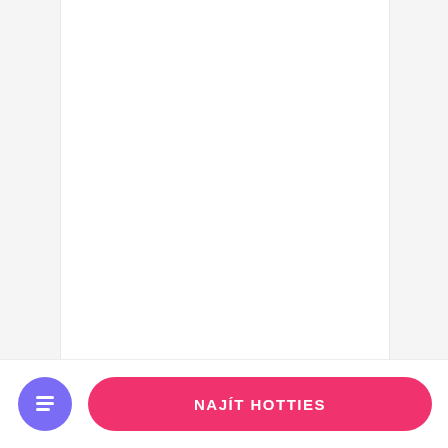BENAUGHTY
9.3/10 ★★★★★
PŘEČÍST RECENZI
79%
NAVŠTÍVIT STRÁNKU
NAJÍT HOTTIES